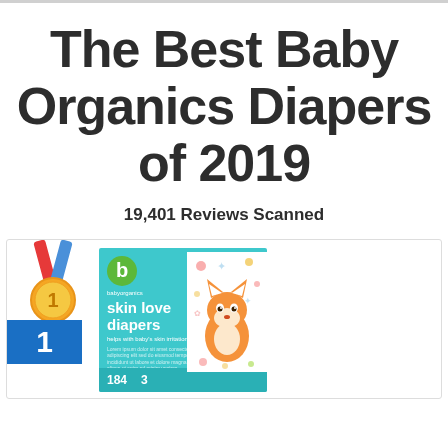The Best Baby Organics Diapers of 2019
19,401 Reviews Scanned
[Figure (photo): Product card showing rank #1 with a gold medal icon and blue rank badge, alongside an image of Baby Organics 'skin love diapers' packaging (teal/turquoise box with brand logo, featuring 184 count size 3), with a fox character illustration on white background to the right.]